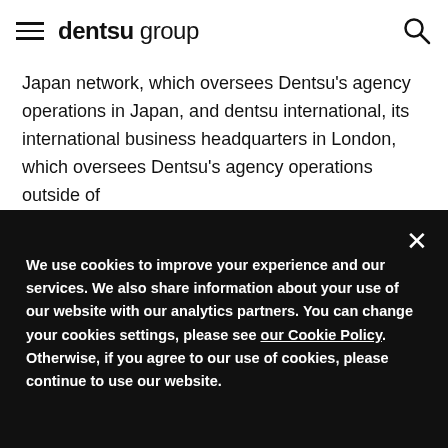dentsu group
Japan network, which oversees Dentsu's agency operations in Japan, and dentsu international, its international business headquarters in London, which oversees Dentsu's agency operations outside of
We use cookies to improve your experience and our services. We also share information about your use of our website with our analytics partners. You can change your cookies settings, please see our Cookie Policy. Otherwise, if you agree to our use of cookies, please continue to use our website.